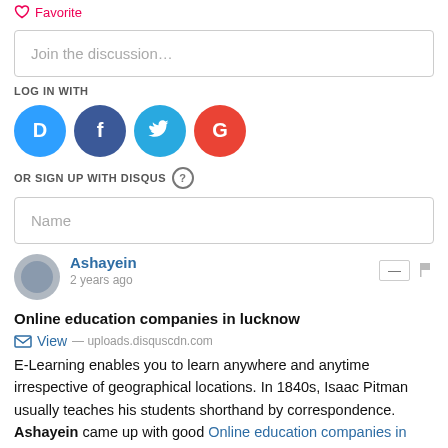Favorite
Join the discussion…
LOG IN WITH
[Figure (infographic): Four social login icons: Disqus (blue), Facebook (dark blue), Twitter (light blue), Google (red)]
OR SIGN UP WITH DISQUS ?
Name
Ashayein
2 years ago
Online education companies in lucknow
View — uploads.disquscdn.com
E-Learning enables you to learn anywhere and anytime irrespective of geographical locations. In 1840s, Isaac Pitman usually teaches his students shorthand by correspondence. Ashayein came up with good Online education companies in lucknow also adopted e-learning